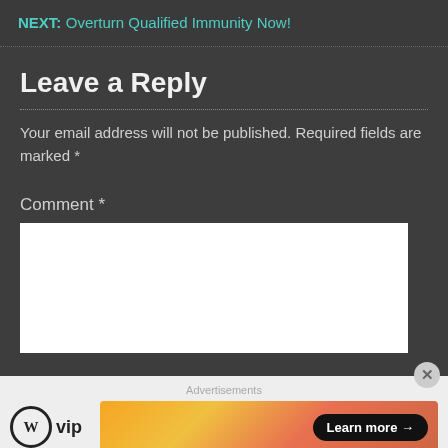NEXT: Overturn Qualified Immunity Now!
Leave a Reply
Your email address will not be published. Required fields are marked *
Comment *
[Figure (logo): WordPress VIP logo and advertisement banner with 'Learn more' button]
Advertisements